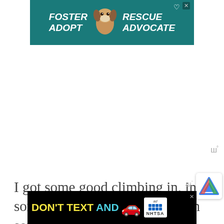[Figure (photo): Top advertisement banner: teal background with a beagle dog photo in center. Text reads FOSTER ADOPT on left, RESCUE ADVOCATE on right, in white bold italic text. Small X close button and heart icon visible.]
I got some good climbing in, in some amazing places. I hiked in some of the most beautiful places I've ever seen.
I summited some iconic peaks by classic routes... My favorite three of the would have to be Mount Whitney's Ea
[Figure (screenshot): WHAT'S NEXT overlay with globe icon. Red label 'WHAT'S NEXT →', title 'How Many Continents...']
[Figure (photo): Bottom advertisement: Black background. Text 'DON'T TEXT AND' in yellow and cyan. Red car emoji. Ad logo and NHTSA branding with dots. X close button.]